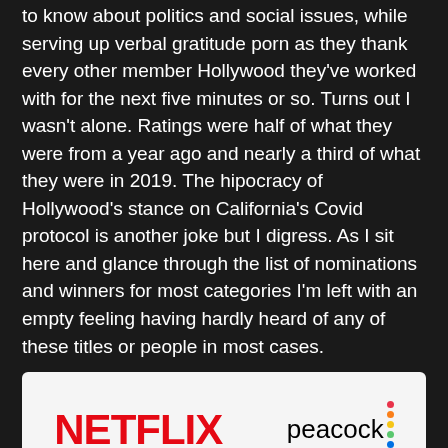to know about politics and social issues, while serving up verbal gratitude porn as they thank every other member Hollywood they've worked with for the next five minutes or so. Turns out I wasn't alone. Ratings were half of what they were from a year ago and nearly a third of what they were in 2019. The hipocracy of Hollywood's stance on California's Covid protocol is another joke but I digress. As I sit here and glance through the list of nominations and winners for most categories I'm left with an empty feeling having hardly heard of any of these titles or people in most cases.
[Figure (logo): Logos for Netflix, Peacock, Prime Video, and HBO Max on a light grey/white background]